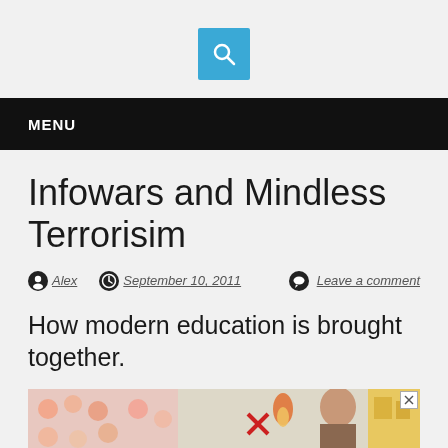[Figure (other): Blue search button with magnifying glass icon]
MENU
Infowars and Mindless Terrorisim
Alex  September 10, 2011  Leave a comment
How modern education is brought together.
[Figure (photo): Partial photo showing children's artwork, a woman working, and orange background]